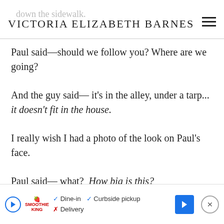VICTORIA ELIZABETH BARNES
Paul said—should we follow you? Where are we going?
And the guy said— it's in the alley, under a tarp... it doesn't fit in the house.
I really wish I had a photo of the look on Paul's face.
Paul said— what? How big is this?
The p…